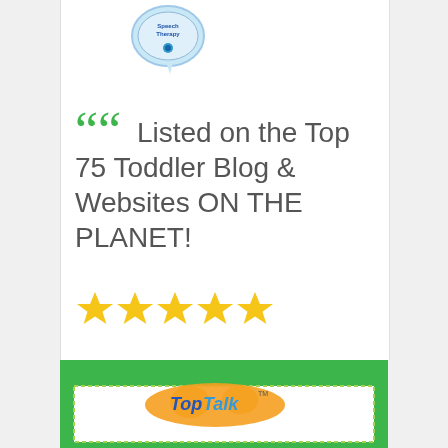[Figure (illustration): Blue speech bubble shaped product icon/badge with 'Speech Therapy' text at top of white card]
Listed on the Top 75 Toddler Blog & Websites ON THE PLANET!
[Figure (illustration): Five gold/yellow stars rating]
[Figure (illustration): Green banner with Top Talk logo and children's faces at the bottom of the page]